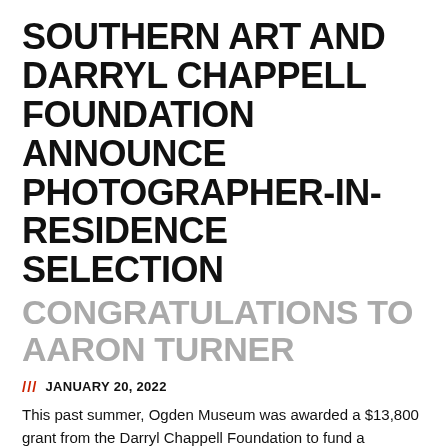SOUTHERN ART AND DARRYL CHAPPELL FOUNDATION ANNOUNCE PHOTOGRAPHER-IN-RESIDENCE SELECTION
CONGRATULATIONS TO AARON TURNER
/// JANUARY 20, 2022
This past summer, Ogden Museum was awarded a $13,800 grant from the Darryl Chappell Foundation to fund a photographer-in-residence program. A call for entries for the residency was open from September 29 through November 23, 2021, and was open to Afrodescendants 21+ who had been practicing photography for the past five